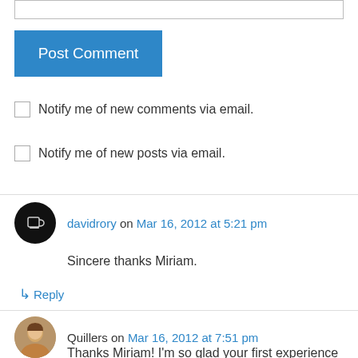[Figure (screenshot): Text input bar at top of page]
Post Comment
Notify me of new comments via email.
Notify me of new posts via email.
davidrory on Mar 16, 2012 at 5:21 pm
Sincere thanks Miriam.
↳ Reply
Quillers on Mar 16, 2012 at 7:51 pm
Thanks Miriam! I'm so glad your first experience of an online course was a positive one. It's been